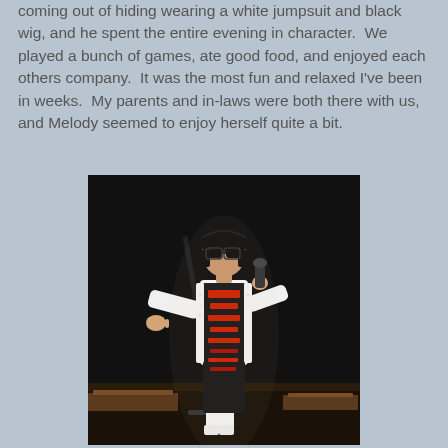coming out of hiding wearing a white jumpsuit and black wig, and he spent the entire evening in character.  We played a bunch of games, ate good food, and enjoyed each others company.  It was the most fun and relaxed I've been in weeks.  My parents and in-laws were both there with us, and Melody seemed to enjoy herself quite a bit.
[Figure (photo): A person dressed as Elvis Presley performing on stage, wearing a white jumpsuit with decorations, a black and red patterned scarf/cape, sunglasses, and a black wig, holding a microphone and gesturing with one hand.]